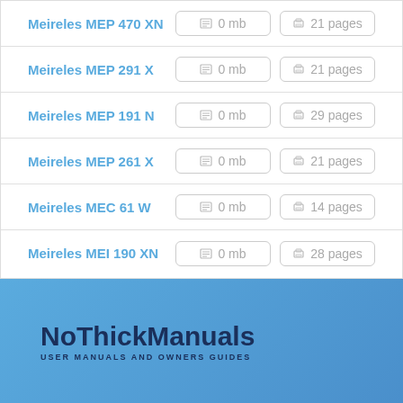Meireles MEP 470 XN | 0 mb | 21 pages
Meireles MEP 291 X | 0 mb | 21 pages
Meireles MEP 191 N | 0 mb | 29 pages
Meireles MEP 261 X | 0 mb | 21 pages
Meireles MEC 61 W | 0 mb | 14 pages
Meireles MEI 190 XN | 0 mb | 28 pages
NoThickManuals
USER MANUALS AND OWNERS GUIDES